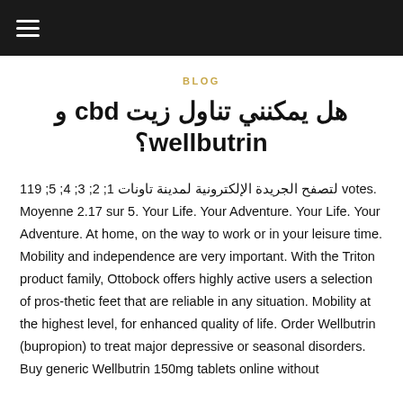≡ (navigation menu)
BLOG
هل يمكنني تناول زيت cbd و wellbutrin؟
لتصفح الجريدة الإلكترونية لمدينة تاونات 1; 2; 3; 4; 5; 119 votes. Moyenne 2.17 sur 5. Your Life. Your Adventure. Your Life. Your Adventure. At home, on the way to work or in your leisure time. Mobility and independence are very important. With the Triton product family, Ottobock offers highly active users a selection of pros-thetic feet that are reliable in any situation. Mobility at the highest level, for enhanced quality of life. Order Wellbutrin (bupropion) to treat major depressive or seasonal disorders. Buy generic Wellbutrin 150mg tablets online without